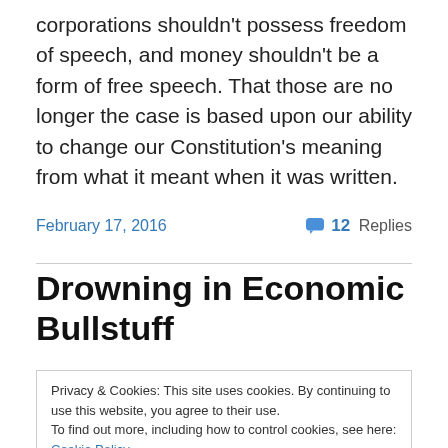corporations shouldn't possess freedom of speech, and money shouldn't be a form of free speech. That those are no longer the case is based upon our ability to change our Constitution's meaning from what it meant when it was written.
February 17, 2016   💬 12 Replies
Drowning in Economic Bullstuff
Privacy & Cookies: This site uses cookies. By continuing to use this website, you agree to their use.
To find out more, including how to control cookies, see here: Cookie Policy
They're Not the Problem.) Steve Eisman, one of the real